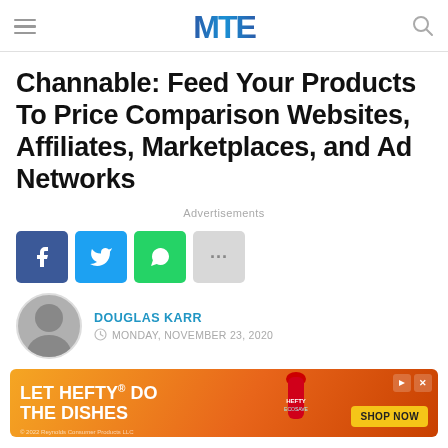MTE (logo)
Channable: Feed Your Products To Price Comparison Websites, Affiliates, Marketplaces, and Ad Networks
Advertisements
[Figure (other): Social share buttons: Facebook, Twitter, WhatsApp, More (...)]
DOUGLAS KARR  MONDAY, NOVEMBER 23, 2020
[Figure (other): Advertisement banner: LET HEFTY DO THE DISHES - SHOP NOW]